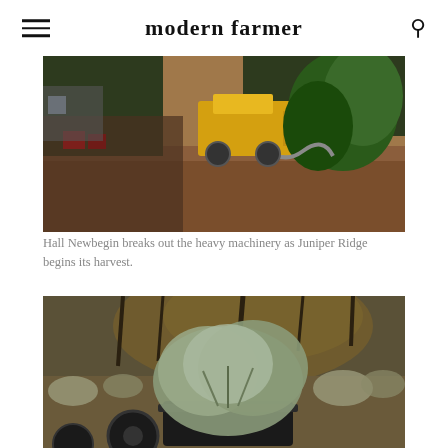modern farmer
[Figure (photo): Heavy machinery (yellow tractor/chipper) being used during harvest at Juniper Ridge, with green brush/trees being processed on reddish-brown soil]
Hall Newbegin breaks out the heavy machinery as Juniper Ridge begins its harvest.
[Figure (photo): Close-up of a potted plant with silvery-green foliage (sage or similar herb) in a dark container, set against a wild brushy landscape with warm golden light in the background]